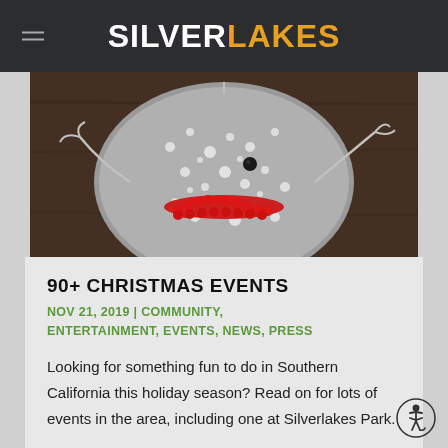SILVERLAKES
[Figure (photo): Close-up photo of a speckled grey and white Christmas ornament or decoration with red beaded accents and wire arms, on a dark wooden background]
90+ CHRISTMAS EVENTS
NOV 21, 2019 | COMMUNITY, ENTERTAINMENT, EVENTS, NEWS, PRESS
Looking for something fun to do in Southern California this holiday season? Read on for lots of events in the area, including one at Silverlakes Park.
read more